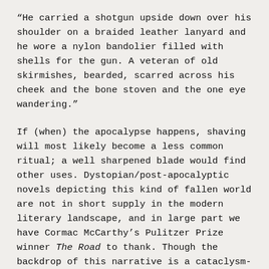“He carried a shotgun upside down over his shoulder on a braided leather lanyard and he wore a nylon bandolier filled with shells for the gun. A veteran of old skirmishes, bearded, scarred across his cheek and the bone stoven and the one eye wandering.”
If (when) the apocalypse happens, shaving will most likely become a less common ritual; a well sharpened blade would find other uses. Dystopian/post-apocalyptic novels depicting this kind of fallen world are not in short supply in the modern literary landscape, and in large part we have Cormac McCarthy’s Pulitzer Prize winner The Road to thank. Though the backdrop of this narrative is a cataclysm-induced gray and ashen landscape, the story focuses on one man and his young son rather than the how or why of the world’s end. “Each the other’s world entire,” father and son walk “the road,” shuffling south to the coast and scraping at survival as they encounter and desperately avoid the savagery of roving gangs and “blood cults.” The man (as he is called) is driven by a